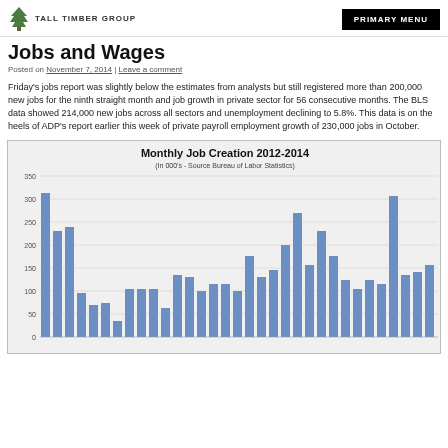TALL TIMBER GROUP | PRIMARY MENU
Jobs and Wages
Posted on November 7, 2014 | Leave a comment
Friday's jobs report was slightly below the estimates from analysts but still registered more than 200,000 new jobs for the ninth straight month and job growth in private sector for 56 consecutive months. The BLS data showed 214,000 new jobs across all sectors and unemployment declining to 5.8%. This data is on the heels of ADP's report earlier this week of private payroll employment growth of 230,000 jobs in October.
[Figure (bar-chart): Monthly Job Creation 2012-2014]